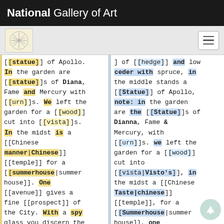National Gallery of Art
[[statue]] of Apollo. In the garden are [[statue]]s of Diana, Fame and Mercury with [[urn]]s. We left the garden for a [[wood]] cut into [[vista]]s. In the midst is a [[Chinese manner|Chinese]] [[temple]] for a [[summerhouse|summer house]]. One [[avenue]] gives a fine [[prospect]] of the City. With a spy glass you discern the
] of [[hedge]] and low ceder with spruce, in the middle stands a [[Statue]] of Apollo, note: in the garden are the [[Statue]]s of Dianna, Fame & Mercury, with [[urn]]s. we left the garden for a [[wood]] cut into [[vista|Visto's]], in the midst a [[Chinese Taste|chinese]] [[temple]], for a [[Summerhouse|summer house]], one